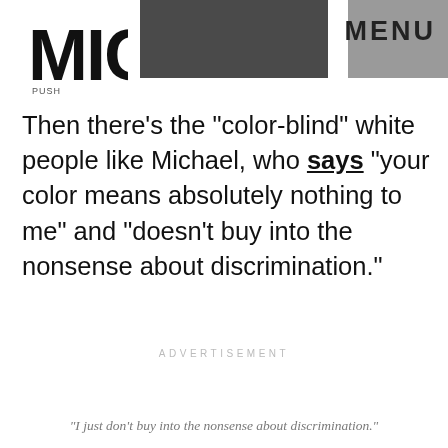MIC | MENU
Then there's the "color-blind" white people like Michael, who says "your color means absolutely nothing to me" and "doesn't buy into the nonsense about discrimination."
ADVERTISEMENT
"I just don't buy into the nonsense about discrimination."